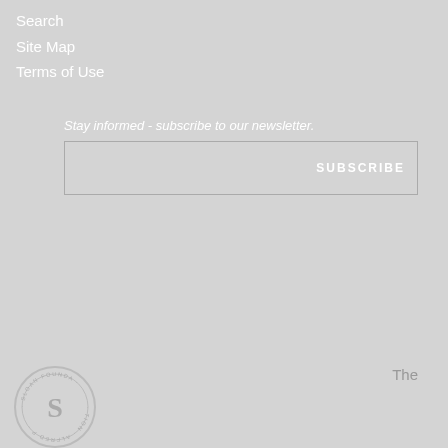Search
Site Map
Terms of Use
Stay informed - subscribe to our newsletter.
SUBSCRIBE
The
[Figure (logo): Circular seal/logo with letter S in center and text around the border, white on gray background]